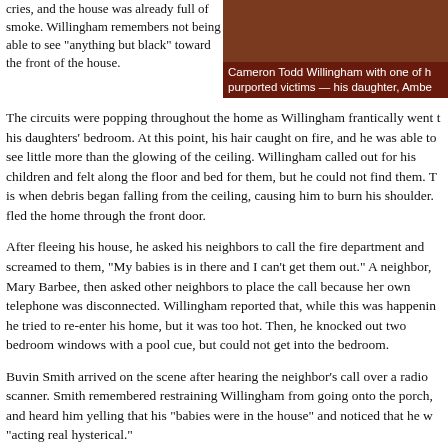cries, and the house was already full of smoke. Willingham remembers not being able to see "anything but black" toward the front of the house.
[Figure (photo): Photo of Cameron Todd Willingham with one of his purported victims — his daughter, Amber. Caption overlaid on dark reddish-brown background.]
Cameron Todd Willingham with one of his purported victims — his daughter, Amber.
The circuits were popping throughout the home as Willingham frantically went to his daughters' bedroom. At this point, his hair caught on fire, and he was able to see little more than the glowing of the ceiling. Willingham called out for his children and felt along the floor and bed for them, but he could not find them. This is when debris began falling from the ceiling, causing him to burn his shoulder. He fled the home through the front door.
After fleeing his house, he asked his neighbors to call the fire department and screamed to them, "My babies is in there and I can't get them out." A neighbor, Mary Barbee, then asked other neighbors to place the call because her own telephone was disconnected. Willingham reported that, while this was happening, he tried to re-enter his home, but it was too hot. Then, he knocked out two bedroom windows with a pool cue, but could not get into the bedroom.
Buvin Smith arrived on the scene after hearing the neighbor's call over a radio scanner. Smith remembered restraining Willingham from going onto the porch, and heard him yelling that his "babies were in the house" and noticed that he was "acting real hysterical."
A Circumstantial Case
Almost immediately, Willingham became a suspect. According to the Chicago Tribune, prosecutors often are able to rely on circumstantial evidence in cases when a child dies and the parent survives. In this case, the prosecution convinced the jury that Willingham killed his children because they interfered with his been